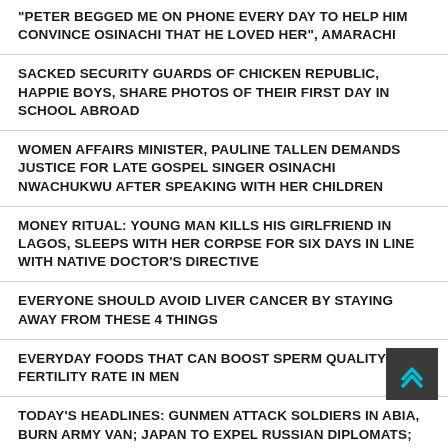“PETER BEGGED ME ON PHONE EVERY DAY TO HELP HIM CONVINCE OSINACHI THAT HE LOVED HER”, AMARACHI
SACKED SECURITY GUARDS OF CHICKEN REPUBLIC, HAPPIE BOYS, SHARE PHOTOS OF THEIR FIRST DAY IN SCHOOL ABROAD
WOMEN AFFAIRS MINISTER, PAULINE TALLEN DEMANDS JUSTICE FOR LATE GOSPEL SINGER OSINACHI NWACHUKWU AFTER SPEAKING WITH HER CHILDREN
MONEY RITUAL: YOUNG MAN KILLS HIS GIRLFRIEND IN LAGOS, SLEEPS WITH HER CORPSE FOR SIX DAYS IN LINE WITH NATIVE DOCTOR’S DIRECTIVE
EVERYONE SHOULD AVOID LIVER CANCER BY STAYING AWAY FROM THESE 4 THINGS
EVERYDAY FOODS THAT CAN BOOST SPERM QUALITY AND FERTILITY RATE IN MEN
TODAY’S HEADLINES: GUNMEN ATTACK SOLDIERS IN ABIA, BURN ARMY VAN; JAPAN TO EXPEL RUSSIAN DIPLOMATS; COURT SETS